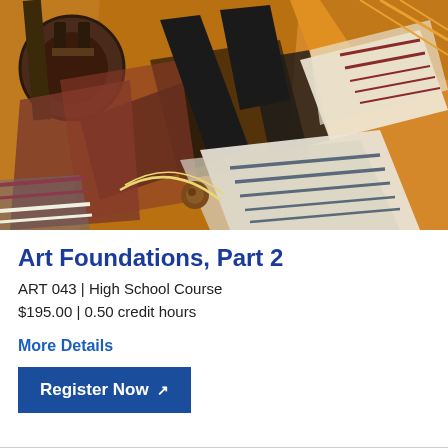[Figure (illustration): Cubist-style painting featuring abstract geometric shapes in orange, black, brown, and grey tones depicting musical instruments and papers on a table surface]
Art Foundations, Part 2
ART 043 | High School Course
$195.00 | 0.50 credit hours
More Details
Register Now